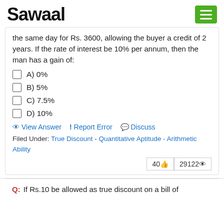Sawaal
the same day for Rs. 3600, allowing the buyer a credit of 2 years. If the rate of interest be 10% per annum, then the man has a gain of:
A) 0%
B) 5%
C) 7.5%
D) 10%
View Answer  Report Error  Discuss
Filed Under: True Discount - Quantitative Aptitude - Arithmetic Ability
40 👍  29122 👁
Q:  If Rs.10 be allowed as true discount on a bill of